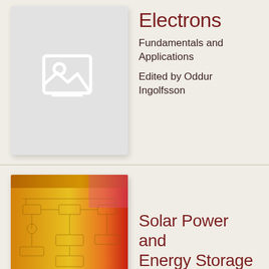[Figure (photo): Book cover placeholder with image icon on light grey background]
Electrons
Fundamentals and Applications
Edited by Oddur Ingolfsson
[Figure (photo): Book cover for Solar Power and Energy Storage Systems showing circuit/block diagram overlay on orange-yellow gradient background]
Solar Power and Energy Storage Systems
by Hee-Je Kim